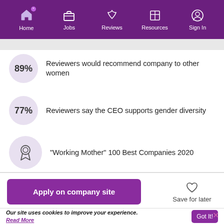Home | Jobs | Reviews | Resources | Sign In
89% – Reviewers would recommend company to other women
77% – Reviewers say the CEO supports gender diversity
"Working Mother" 100 Best Companies 2020
Apply on company site
Save for later
Our site uses cookies to improve your experience. Read More
Got It!